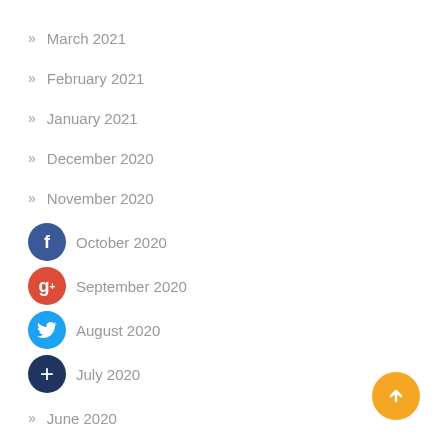March 2021
February 2021
January 2021
December 2020
November 2020
October 2020
September 2020
August 2020
July 2020
June 2020
[Figure (illustration): Yellow circular back-to-top button with upward arrow in bottom right corner]